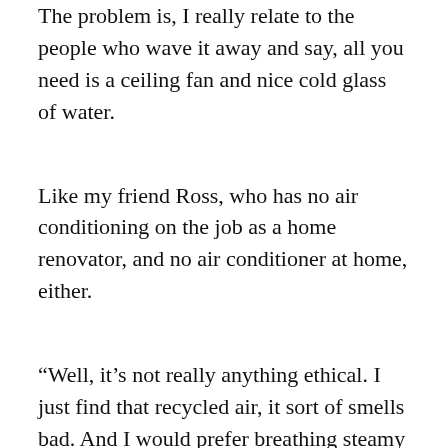The problem is, I really relate to the people who wave it away and say, all you need is a ceiling fan and nice cold glass of water.
Like my friend Ross, who has no air conditioning on the job as a home renovator, and no air conditioner at home, either.
“Well, it’s not really anything ethical. I just find that recycled air, it sort of smells bad. And I would prefer breathing steamy but clean air to cooled but stale air.”
Ross is one of those people who thinks it’s silly